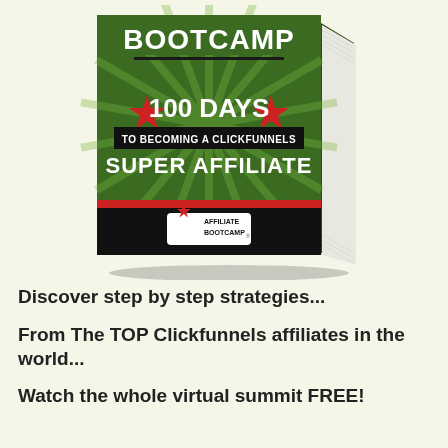[Figure (illustration): 3D book cover showing 'Affiliate Bootcamp - 100 Days to Becoming a ClickFunnels Super Affiliate' with green military style design, red stars, and Affiliate Bootcamp logo badge at bottom]
Discover step by step strategies...
From The TOP Clickfunnels affiliates in the world...
Watch the whole virtual summit FREE!